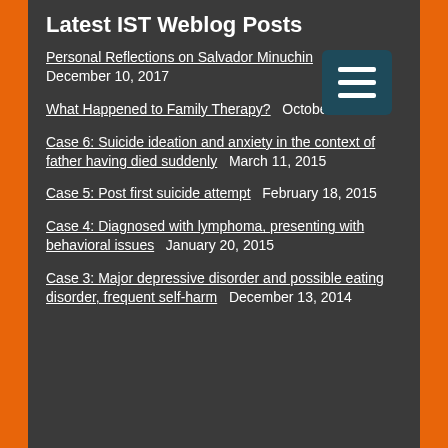Latest IST Weblog Posts
Personal Reflections on Salvador Minuchin  December 10, 2017
What Happened to Family Therapy?  October 2017
Case 6: Suicide ideation and anxiety in the context of father having died suddenly  March 11, 2015
Case 5: Post first suicide attempt  February 18, 2015
Case 4: Diagnosed with lymphoma, presenting with behavioral issues  January 20, 2015
Case 3: Major depressive disorder and possible eating disorder, frequent self-harm  December 13, 2014